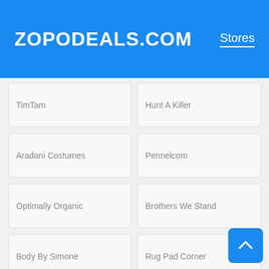ZOPODEALS.COM
Stores
TimTam
Hunt A Killer
Aradani Costumes
Pennelcom
Optimally Organic
Brothers We Stand
Body By Simone
Rug Pad Corner
PK Safety Supply
Tytyga
York's Chocolate Story
English National Opera
Ben Nevis Clothing
Houlihan's
Kaplan Real Estate Education
Xero